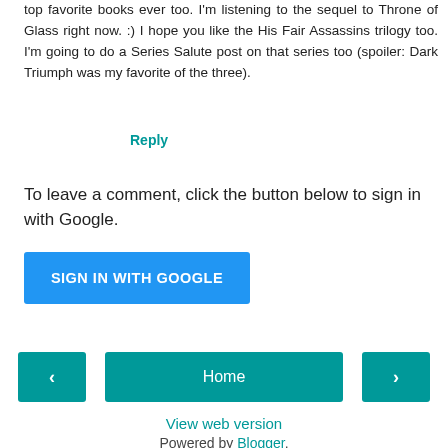top favorite books ever too. I'm listening to the sequel to Throne of Glass right now. :) I hope you like the His Fair Assassins trilogy too. I'm going to do a Series Salute post on that series too (spoiler: Dark Triumph was my favorite of the three).
Reply
To leave a comment, click the button below to sign in with Google.
SIGN IN WITH GOOGLE
< Home >
View web version
Powered by Blogger.